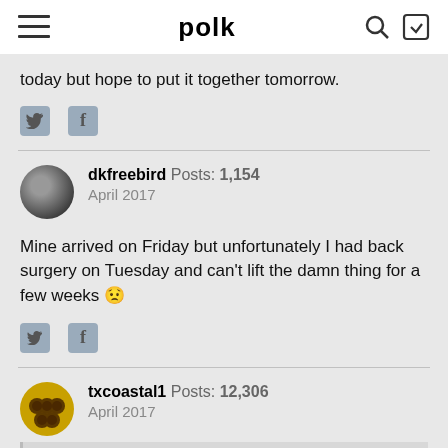polk
today but hope to put it together tomorrow.
[Figure (screenshot): Twitter and Facebook share icon buttons]
dkfreebird  Posts: 1,154  April 2017
Mine arrived on Friday but unfortunately I had back surgery on Tuesday and can't lift the damn thing for a few weeks 😟
[Figure (screenshot): Twitter and Facebook share icon buttons]
txcoastal1  Posts: 12,306  April 2017
dkfreebird wrote:...